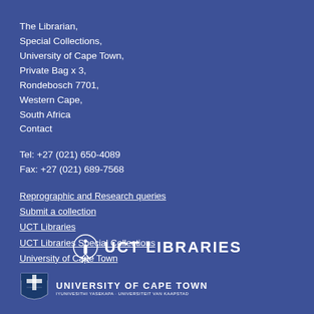The Librarian,
Special Collections,
University of Cape Town,
Private Bag x 3,
Rondebosch 7701,
Western Cape,
South Africa
Contact
Tel: +27 (021) 650-4089
Fax: +27 (021) 689-7568
Reprographic and Research queries
Submit a collection
UCT Libraries
UCT Libraries Special Collections
University of Cape Town
[Figure (logo): UCT Libraries logo with circle-i icon and text UCT LIBRARIES]
[Figure (logo): University of Cape Town shield logo with text UNIVERSITY OF CAPE TOWN and subtitle IYUNIVESITHI YASEKAPA · UNIVERSITEIT VAN KAAPSTAD]